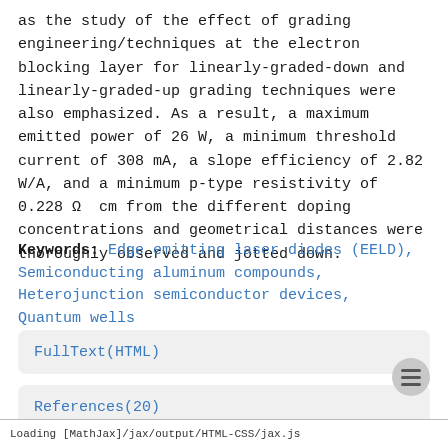as the study of the effect of grading engineering/techniques at the electron blocking layer for linearly-graded-down and linearly-graded-up grading techniques were also emphasized. As a result, a maximum emitted power of 26 W, a minimum threshold current of 308 mA, a slope efficiency of 2.82 W/A, and a minimum p-type resistivity of 0.228 Ω  cm from the different doping concentrations and geometrical distances were thoroughly observed and jotted down.
Keywords: Edge emitting laser diodes (EELD), Semiconducting aluminum compounds, Heterojunction semiconductor devices, Quantum wells
FullText(HTML)
References(20)
Loading [MathJax]/jax/output/HTML-CSS/jax.js